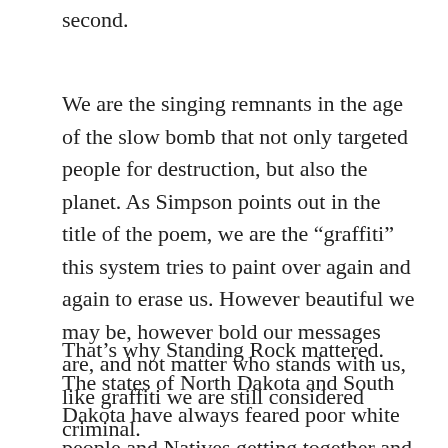second.
We are the singing remnants in the age of the slow bomb that not only targeted people for destruction, but also the planet. As Simpson points out in the title of the poem, we are the “graffiti” this system tries to paint over again and again to erase us. However beautiful we may be, however bold our messages are, and not matter who stands with us, like graffiti we are still considered criminal.
That’s why Standing Rock mattered. The states of North Dakota and South Dakota have always feared poor white people and Natives getting together and taking their destinies into their own